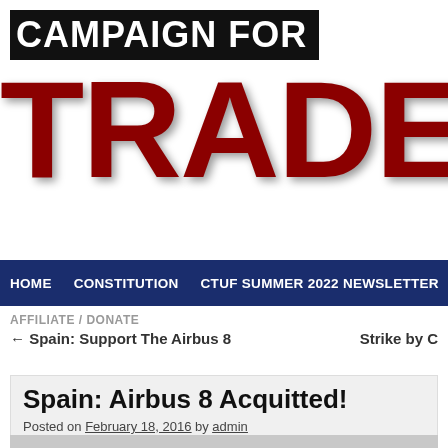CAMPAIGN FOR TRADE UNION
HOME  CONSTITUTION  CTUF SUMMER 2022 NEWSLETTER
AFFILIATE / DONATE
← Spain: Support The Airbus 8
Strike by C
Spain: Airbus 8 Acquitted!
Posted on February 18, 2016 by admin